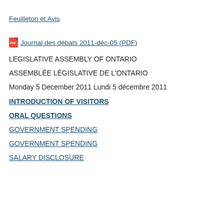Feuilleton et Avis
Journal des débats 2011-déc-05 (PDF)
LEGISLATIVE ASSEMBLY OF ONTARIO
ASSEMBLÉE LÉGISLATIVE DE L'ONTARIO
Monday 5 December 2011 Lundi 5 décembre 2011
INTRODUCTION OF VISITORS
ORAL QUESTIONS
GOVERNMENT SPENDING
GOVERNMENT SPENDING
SALARY DISCLOSURE